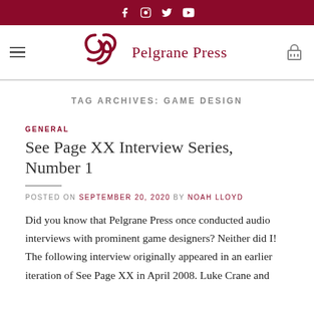Social media icons: Facebook, Instagram, Twitter, YouTube
[Figure (logo): Pelgrane Press logo with stylized PP monogram and text 'Pelgrane Press' in dark red, with hamburger menu on left and cart icon on right]
TAG ARCHIVES: GAME DESIGN
GENERAL
See Page XX Interview Series, Number 1
POSTED ON SEPTEMBER 20, 2020 BY NOAH LLOYD
Did you know that Pelgrane Press once conducted audio interviews with prominent game designers? Neither did I! The following interview originally appeared in an earlier iteration of See Page XX in April 2008. Luke Crane and